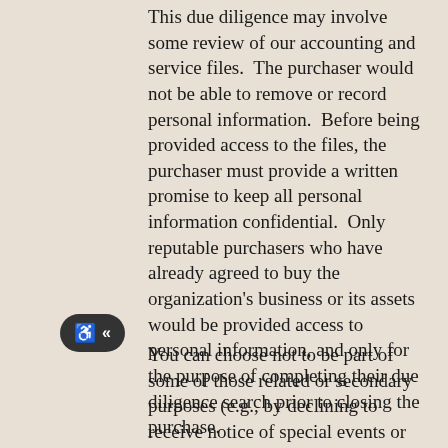This due diligence may involve some review of our accounting and service files.  The purchaser would not be able to remove or record personal information.  Before being provided access to the files, the purchaser must provide a written promise to keep all personal information confidential.  Only reputable purchasers who have already agreed to buy the organization's business or its assets would be provided access to personal information, and only for the purpose of completing their due diligence search prior to closing the purchase.
You can choose not to be part of some of those related or secondary purposes (e.g., by declining to receive notice of special events or opportunities, by paying for your services in advance). We do not, however, have much